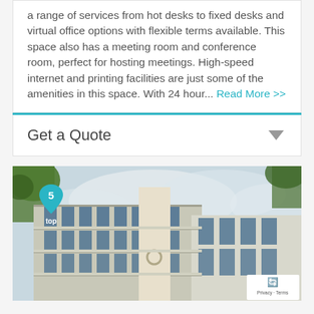a range of services from hot desks to fixed desks and virtual office options with flexible terms available. This space also has a meeting room and conference room, perfect for hosting meetings. High-speed internet and printing facilities are just some of the amenities in this space. With 24 hour... Read More >>
Get a Quote
[Figure (photo): Exterior photo of a modern multi-storey office building with glass facades, balconies, and a map pin marker labeled '5' overlaid on the top-left corner. A privacy/reCAPTCHA badge is visible in the bottom-right corner.]